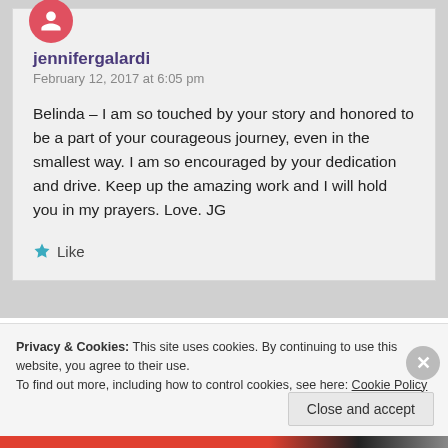jennifergalardi
February 12, 2017 at 6:05 pm
Belinda – I am so touched by your story and honored to be a part of your courageous journey, even in the smallest way. I am so encouraged by your dedication and drive. Keep up the amazing work and I will hold you in my prayers. Love. JG
Like
Privacy & Cookies: This site uses cookies. By continuing to use this website, you agree to their use.
To find out more, including how to control cookies, see here: Cookie Policy
Close and accept